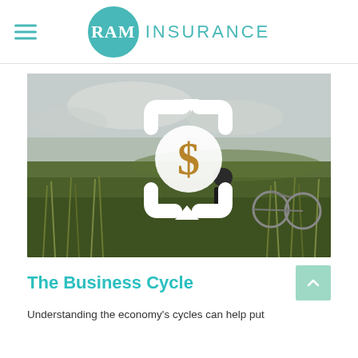RAM INSURANCE
[Figure (photo): A man sitting in tall grass next to a bicycle on a hillside, with a white circular dollar sign cycle icon overlaid on the image]
The Business Cycle
Understanding the economy's cycles can help put